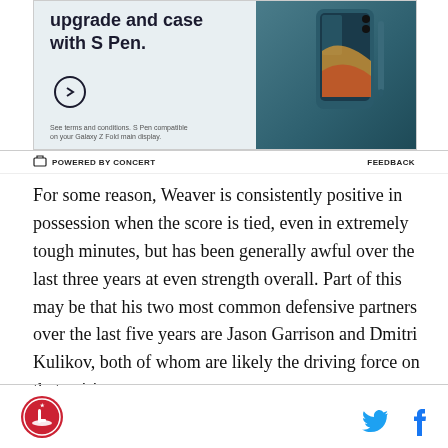[Figure (photo): Advertisement banner showing Samsung Galaxy Z Fold phone with S Pen, teal/dark color scheme, with circular arrow button and fine print text]
POWERED BY CONCERT    FEEDBACK
For some reason, Weaver is consistently positive in possession when the score is tied, even in extremely tough minutes, but has been generally awful over the last three years at even strength overall. Part of this may be that his two most common defensive partners over the last five years are Jason Garrison and Dmitri Kulikov, both of whom are likely the driving force on that pairing.
[Figure (logo): Round red logo with hockey-related emblem, followed by Twitter bird icon in blue and Facebook f icon in blue]